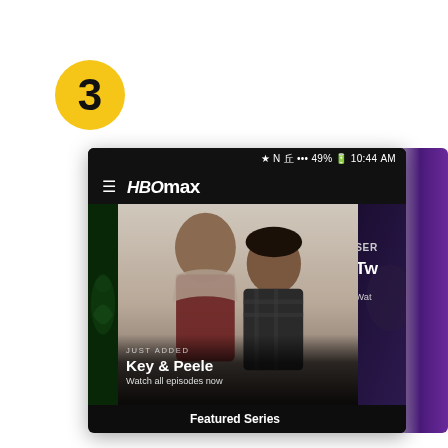3
[Figure (screenshot): HBO Max app screenshot showing Key & Peele featured content. Status bar shows 49% battery, 10:44 AM. Top bar shows hamburger menu and HBO max logo. Main card shows two men (Key & Peele) with text 'JUST ADDED', 'Key & Peele', 'Watch all episodes now'. Partial right card shows 'SER' and 'Tw' with 'Wat'. Bottom shows 'Featured Series' text.]